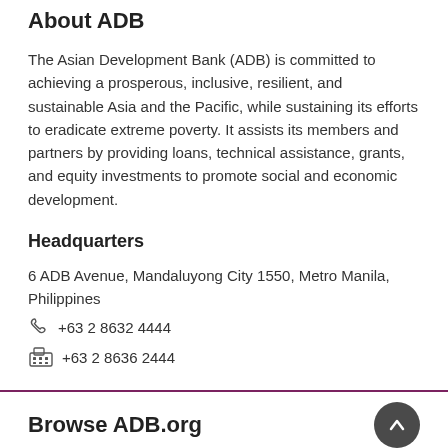About ADB
The Asian Development Bank (ADB) is committed to achieving a prosperous, inclusive, resilient, and sustainable Asia and the Pacific, while sustaining its efforts to eradicate extreme poverty. It assists its members and partners by providing loans, technical assistance, grants, and equity investments to promote social and economic development.
Headquarters
6 ADB Avenue, Mandaluyong City 1550, Metro Manila, Philippines
☎ +63 2 8632 4444
📠 +63 2 8636 2444
Browse ADB.org